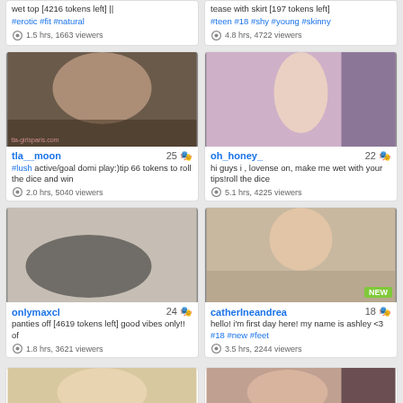wet top [4216 tokens left] || #erotic #fit #natural
1.5 hrs, 1663 viewers
tease with skirt [197 tokens left]
#teen #18 #shy #young #skinny
4.8 hrs, 4722 viewers
[Figure (photo): Webcam thumbnail of tia__moon]
tia__moon 25
#lush active/goal domi play:)tip 66 tokens to roll the dice and win
2.0 hrs, 5040 viewers
[Figure (photo): Webcam thumbnail of oh_honey_]
oh_honey_ 22
hi guys i , lovense on, make me wet with your tips!roll the dice
5.1 hrs, 4225 viewers
[Figure (photo): Webcam thumbnail of onlymaxcl]
onlymaxcl 24
panties off [4619 tokens left] good vibes only!! of
1.8 hrs, 3621 viewers
[Figure (photo): Webcam thumbnail of catherIneandrea, NEW badge]
catherIneandrea 18
hello! i'm first day here! my name is ashley <3 #18 #new #feet
3.5 hrs, 2244 viewers
[Figure (photo): Partial webcam thumbnail bottom left]
[Figure (photo): Partial webcam thumbnail bottom right]